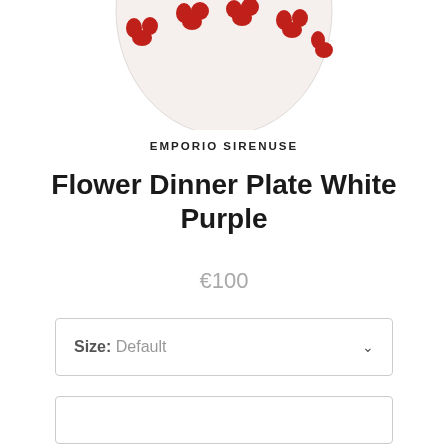[Figure (photo): Partial view of a white ceramic dinner plate with red floral pattern, cropped at top of page]
EMPORIO SIRENUSE
Flower Dinner Plate White Purple
€100
Size: Default